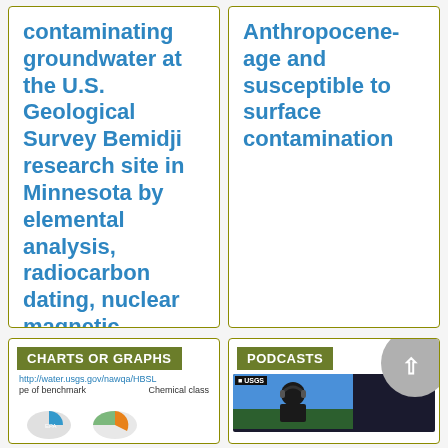contaminating groundwater at the U.S. Geological Survey Bemidji research site in Minnesota by elemental analysis, radiocarbon dating, nuclear magnetic resonance spectroscopy, and Fourier tran
Anthropocene-age and susceptible to surface contamination
CHARTS OR GRAPHS
[Figure (screenshot): A partial view of a USGS NAWQA chart page showing a pie chart with EPA benchmark type and Chemical class labels, URL: http://water.usgs.gov/nawqa/HBSL]
PODCASTS
[Figure (photo): A USGS podcast thumbnail showing a person wearing headphones against a sky background, with USGS logo]